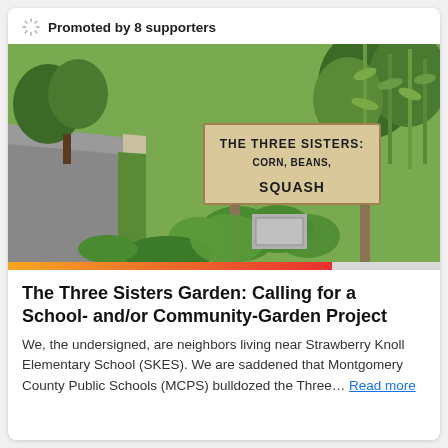Promoted by 8 supporters
[Figure (photo): Outdoor garden scene with a wooden sign reading 'THE THREE SISTERS: CORN, BEANS, SQUASH' surrounded by lush green vegetation including corn stalks, with a sidewalk and road visible on the left.]
The Three Sisters Garden: Calling for a School- and/or Community-Garden Project
We, the undersigned, are neighbors living near Strawberry Knoll Elementary School (SKES). We are saddened that Montgomery County Public Schools (MCPS) bulldozed the Three… Read more